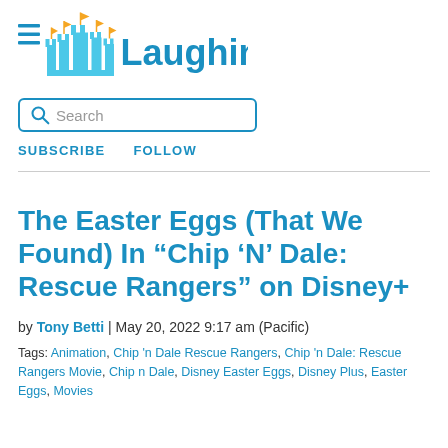[Figure (logo): Laughing Place website logo with castle silhouette and hamburger menu icon]
[Figure (other): Search bar with magnifying glass icon and placeholder text 'Search']
SUBSCRIBE   FOLLOW
The Easter Eggs (That We Found) In “Chip ‘N’ Dale: Rescue Rangers” on Disney+
by Tony Betti | May 20, 2022 9:17 am (Pacific)
Tags: Animation, Chip 'n Dale Rescue Rangers, Chip 'n Dale: Rescue Rangers Movie, Chip n Dale, Disney Easter Eggs, Disney Plus, Easter Eggs, Movies